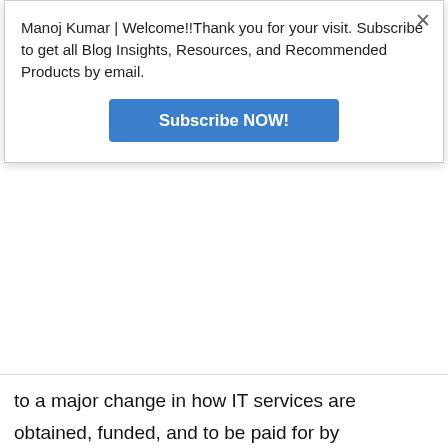Manoj Kumar | Welcome!!Thank you for your visit. Subscribe to get all Blog Insights, Resources, and Recommended Products by email.
[Figure (screenshot): Blue 'Subscribe NOW!' button]
to a major change in how IT services are obtained, funded, and to be paid for by organizations.
Traditionally, IT resources obtained using upfront Capital Expenditure (CAPEX). However, under the cloud uting model, the provision of IT Infrastructure,
[Figure (screenshot): CVS Pharmacy advertisement banner: '50+ Same Day Photo Products CVS Photo' with CVS logo and navigation arrow icon]